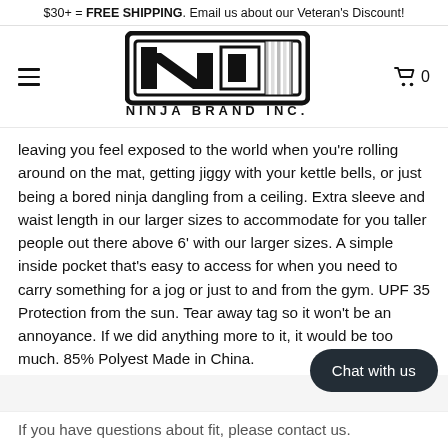$30+ = FREE SHIPPING. Email us about our Veteran's Discount!
[Figure (logo): Ninja Brand Inc. logo — bold black N in a rectangular frame with hatched American flag stripes on the right side, text 'NINJA BRAND INC.' below]
leaving you feel exposed to the world when you're rolling around on the mat, getting jiggy with your kettle bells, or just being a bored ninja dangling from a ceiling. Extra sleeve and waist length in our larger sizes to accommodate for you taller people out there above 6' with our larger sizes. A simple inside pocket that's easy to access for when you need to carry something for a jog or just to and from the gym. UPF 35 Protection from the sun. Tear away tag so it won't be an annoyance. If we did anything more to it, it would be too much. 85% Polyest… Made in China.
If you have questions about fit, please contact us.